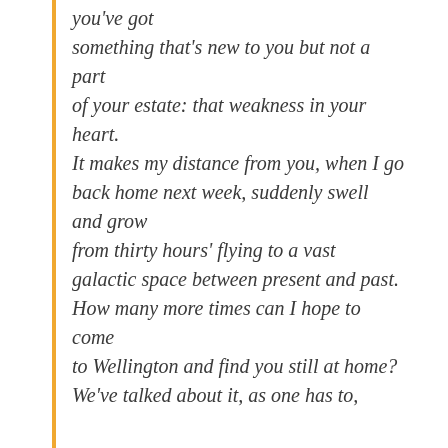you've got
something that's new to you but not a part
of your estate: that weakness in your heart.
It makes my distance from you, when I go back home next week, suddenly swell and grow
from thirty hours' flying to a vast galactic space between present and past.
How many more times can I hope to come
to Wellington and find you still at home?
We've talked about it, as one has to,